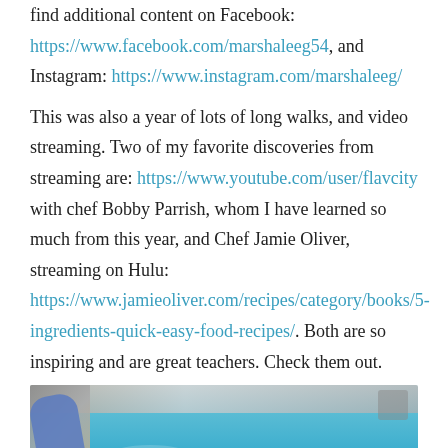find additional content on Facebook: https://www.facebook.com/marshaleeg54, and Instagram: https://www.instagram.com/marshaleeg/
This was also a year of lots of long walks, and video streaming. Two of my favorite discoveries from streaming are: https://www.youtube.com/user/flavcity with chef Bobby Parrish, whom I have learned so much from this year, and Chef Jamie Oliver, streaming on Hulu: https://www.jamieoliver.com/recipes/category/books/5-ingredients-quick-easy-food-recipes/. Both are so inspiring and are great teachers. Check them out.
[Figure (photo): Photo of a backyard swimming pool area with blue water, a blue inflatable or pool slide on the left, patio tiles, outdoor chairs, and what appear to be ducks in the water.]